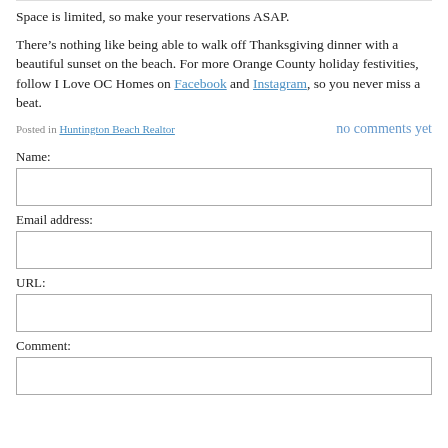Space is limited, so make your reservations ASAP.
There’s nothing like being able to walk off Thanksgiving dinner with a beautiful sunset on the beach. For more Orange County holiday festivities, follow I Love OC Homes on Facebook and Instagram, so you never miss a beat.
Posted in Huntington Beach Realtor
no comments yet
Name:
Email address:
URL:
Comment: